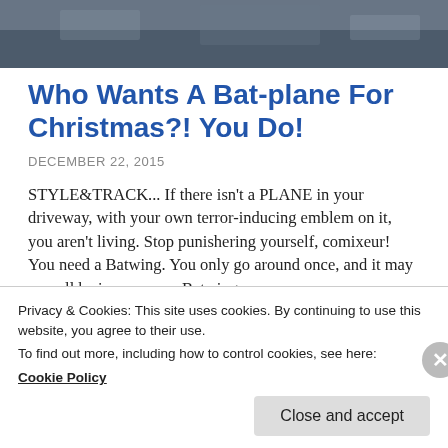[Figure (photo): Top portion of a webpage showing a blurry dark photo, likely a street or parking area]
Who Wants A Bat-plane For Christmas?! You Do!
DECEMBER 22, 2015
STYLE&TRACK... If there isn't a PLANE in your driveway, with your own terror-inducing emblem on it, you aren't living. Stop punishering yourself, comixeur! You need a Batwing. You only go around once, and it may as well be in your own Batwing
Privacy & Cookies: This site uses cookies. By continuing to use this website, you agree to their use.
To find out more, including how to control cookies, see here:
Cookie Policy